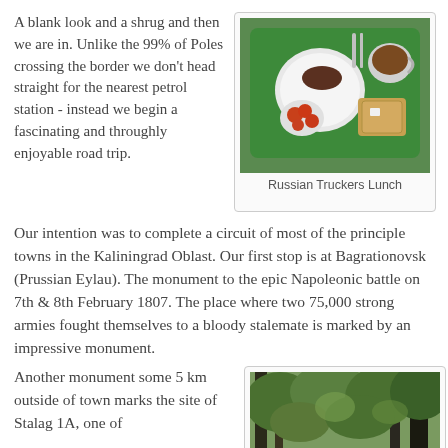A blank look and a shrug and then we are in. Unlike the 99% of Poles crossing the border we don’t head straight for the nearest petrol station - instead we begin a fascinating and throughly enjoyable road trip.
[Figure (photo): A green cafeteria tray with food: open-faced sandwiches with tomatoes, a plate with a dark food item, a cup of tea, and a wrapped bread item.]
Russian Truckers Lunch
Our intention was to complete a circuit of most of the principle towns in the Kaliningrad Oblast. Our first stop is at Bagrationovsk (Prussian Eylau). The monument to the epic Napoleonic battle on 7th & 8th February 1807. The place where two 75,000 strong armies fought themselves to a bloody stalemate is marked by an impressive monument.
Another monument some 5 km outside of town marks the site of Stalag 1A, one of
[Figure (photo): A forest scene with tall trees, green foliage visible.]